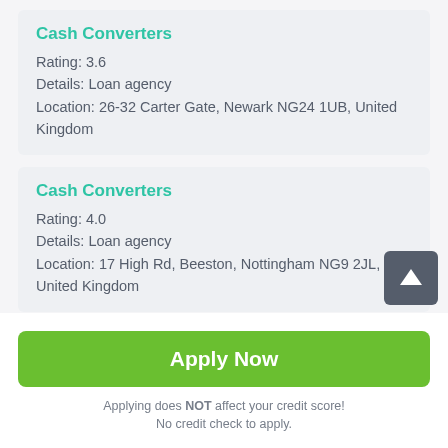Cash Converters
Rating: 3.6
Details: Loan agency
Location: 26-32 Carter Gate, Newark NG24 1UB, United Kingdom
Cash Converters
Rating: 4.0
Details: Loan agency
Location: 17 High Rd, Beeston, Nottingham NG9 2JL, United Kingdom
Apply Now
Applying does NOT affect your credit score!
No credit check to apply.